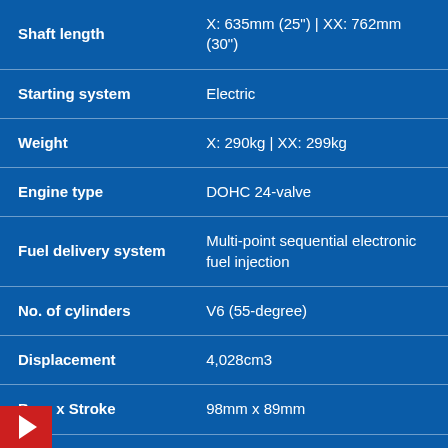| Property | Value |
| --- | --- |
| Shaft length | X: 635mm (25") | XX: 762mm (30") |
| Starting system | Electric |
| Weight | X: 290kg  |  XX: 299kg |
| Engine type | DOHC 24-valve |
| Fuel delivery system | Multi-point sequential electronic fuel injection |
| No. of cylinders | V6 (55-degree) |
| Displacement | 4,028cm3 |
| Bore x Stroke | 98mm x 89mm |